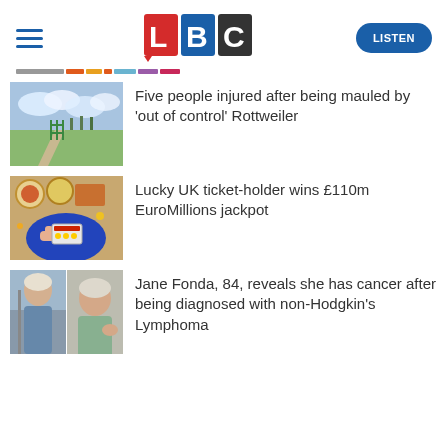LBC — LISTEN
[Figure (screenshot): News article thumbnail: open park/field with green fence and path under cloudy sky]
Five people injured after being mauled by 'out of control' Rottweiler
[Figure (screenshot): News article thumbnail: person holding a lottery ticket over a blue surface]
Lucky UK ticket-holder wins £110m EuroMillions jackpot
[Figure (screenshot): News article thumbnail: split image of Jane Fonda and another older woman]
Jane Fonda, 84, reveals she has cancer after being diagnosed with non-Hodgkin's Lymphoma